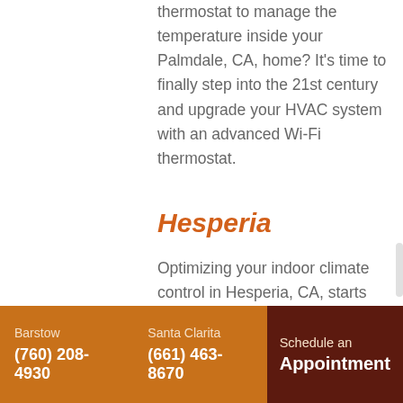thermostat to manage the temperature inside your Palmdale, CA, home? It's time to finally step into the 21st century and upgrade your HVAC system with an advanced Wi-Fi thermostat.
Hesperia
Optimizing your indoor climate control in Hesperia, CA, starts with selecting the right HVAC system for your comfort needs. We offer a range of
Barstow (760) 208-4930 | Santa Clarita (661) 463-8670 | Schedule an Appointment